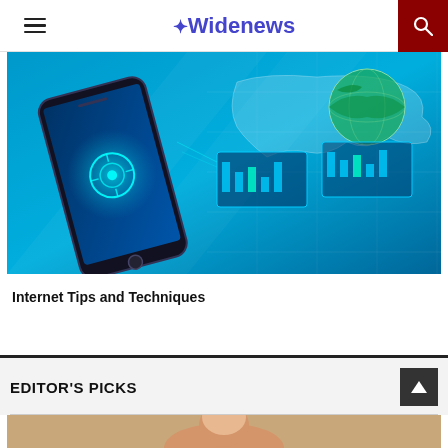Widenews
[Figure (photo): Tech/internet concept image showing a smartphone with glowing blue screen, floating digital world map, globe, and data chart graphics on cyan/blue background]
Internet Tips and Techniques
EDITOR'S PICKS